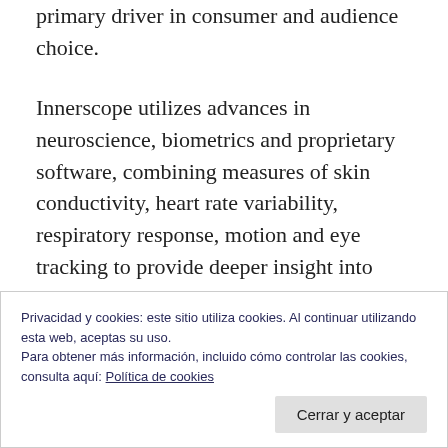primary driver in consumer and audience choice.
Innerscope utilizes advances in neuroscience, biometrics and proprietary software, combining measures of skin conductivity, heart rate variability, respiratory response, motion and eye tracking to provide deeper insight into consumers' media and message consumption. This integrated approach measures beyond self
Privacidad y cookies: este sitio utiliza cookies. Al continuar utilizando esta web, aceptas su uso.
Para obtener más información, incluido cómo controlar las cookies, consulta aquí: Política de cookies